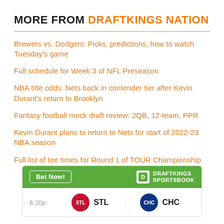MORE FROM DRAFTKINGS NATION
Brewers vs. Dodgers: Picks, predictions, how to watch Tuesday's game
Full schedule for Week 3 of NFL Preseason
NBA title odds: Nets back in contender tier after Kevin Durant's return to Brooklyn
Fantasy football mock draft review: 2QB, 12-team, PPR
Kevin Durant plans to return to Nets for start of 2022-23 NBA season
Full list of tee times for Round 1 of TOUR Championship
[Figure (infographic): DraftKings Sportsbook widget showing a bet panel with 'Bet Now!' button, DraftKings Sportsbook logo, and a game listing showing 6:20p with STL vs CHC teams.]